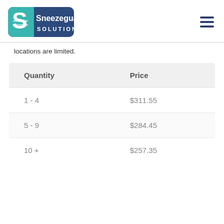Sneezeguard Solutions
locations are limited.
| Quantity | Price |
| --- | --- |
| 1 - 4 | $311.55 |
| 5 - 9 | $284.45 |
| 10 + | $257.35 |